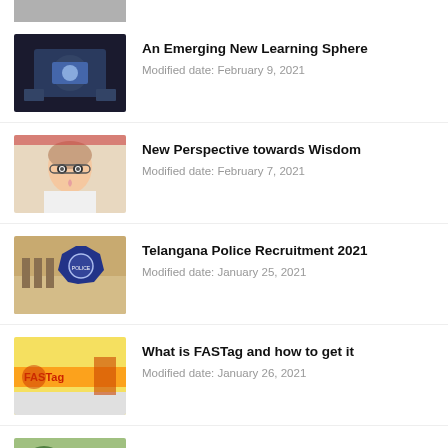[Figure (photo): Partial image cropped at top of page]
An Emerging New Learning Sphere
Modified date: February 9, 2021
[Figure (photo): Child with glasses thinking]
New Perspective towards Wisdom
Modified date: February 7, 2021
[Figure (photo): Telangana State Police badge and officers]
Telangana Police Recruitment 2021
Modified date: January 25, 2021
[Figure (photo): FASTag promotional image]
What is FASTag and how to get it
Modified date: January 26, 2021
[Figure (photo): YS Jagan event image]
YS Jagan Laid foundation stone for 125 ft Ambedkar statue